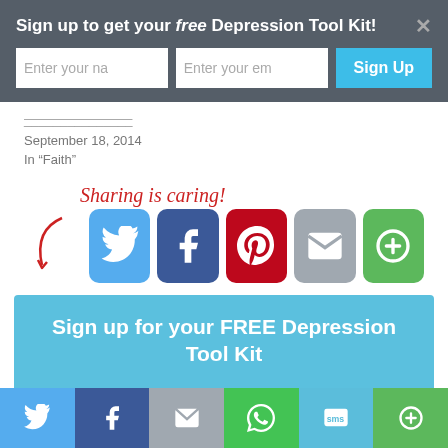Sign up to get your free Depression Tool Kit!
[Figure (screenshot): Sign-up popup with name and email input fields and a Sign Up button on dark background]
September 18, 2014
In “Faith”
[Figure (infographic): Sharing is caring! text with red arrow pointing to social sharing buttons: Twitter, Facebook, Pinterest, Email, More]
Sign up for your FREE Depression Tool Kit
[Figure (infographic): Bottom social sharing bar with Twitter, Facebook, Email, WhatsApp, SMS, More buttons]